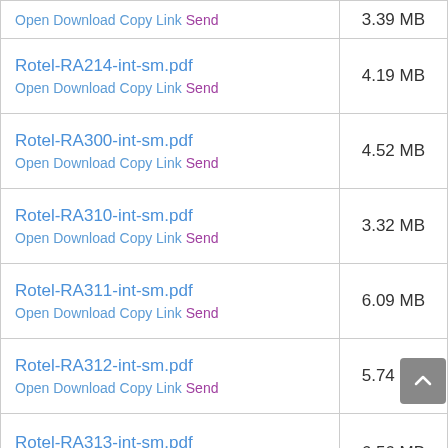| File | Size |
| --- | --- |
| Rotel-RA214-int-sm.pdf
Open Download Copy Link Send | 4.19 MB |
| Rotel-RA300-int-sm.pdf
Open Download Copy Link Send | 4.52 MB |
| Rotel-RA310-int-sm.pdf
Open Download Copy Link Send | 3.32 MB |
| Rotel-RA311-int-sm.pdf
Open Download Copy Link Send | 6.09 MB |
| Rotel-RA312-int-sm.pdf
Open Download Copy Link Send | 5.74 MB |
| Rotel-RA313-int-sm.pdf
Open Download Copy Link Send | 6.56 MB |
| Rotel-RA314-int-sm.pdf
Open Download Copy Link Send | 3.08 MB |
| Rotel-RA400-int-sm.pdf
Open Download Copy Link Send | 2.04 MB |
| Rotel-RA412-int-sm.pdf
Open Download Copy Link Send | 6.12 MB |